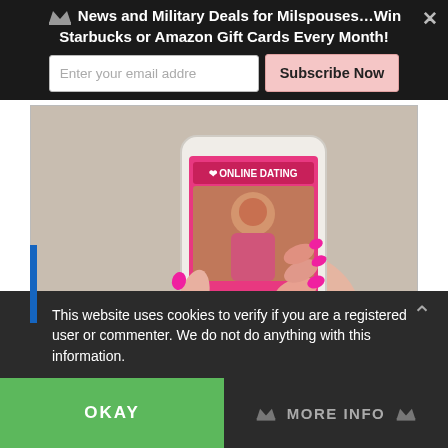News and Military Deals for Milspouses…Win Starbucks or Amazon Gift Cards Every Month!
Enter your email addre
Subscribe Now
[Figure (photo): A hand with pink nails holding a white smartphone displaying an online dating app with a photo of a woman in sunglasses on the screen. The phone rests on a wooden surface.]
This website uses cookies to verify if you are a registered user or commenter. We do not do anything with this information.
OKAY
MORE INFO